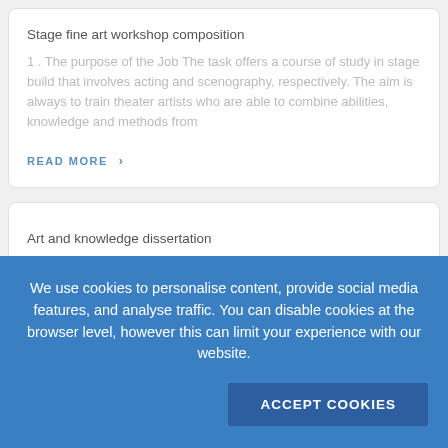Stage fine art workshop composition
1 . The purpose of the Job The task offers a course of study in stage build that involves acting and scenography, respectively. The aim is always to train theater artists who are able to combine abilities, knowledge and methods from
READ MORE  ›
Art and knowledge dissertation
An area of knowledge that is usually regarded as
We use cookies to personalise content, provide social media features, and analyse traffic. You can disable cookies at the browser level, however this can limit your experience with our website.
Accept Cookies